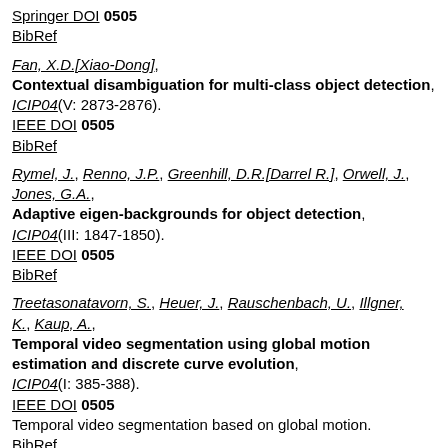Springer DOI 0505
BibRef
Fan, X.D.[Xiao-Dong],
Contextual disambiguation for multi-class object detection,
ICIP04(V: 2873-2876).
IEEE DOI 0505
BibRef
Rymel, J., Renno, J.P., Greenhill, D.R.[Darrel R.], Orwell, J., Jones, G.A.,
Adaptive eigen-backgrounds for object detection,
ICIP04(III: 1847-1850).
IEEE DOI 0505
BibRef
Treetasonatavorn, S., Heuer, J., Rauschenbach, U., Illgner, K., Kaup, A.,
Temporal video segmentation using global motion estimation and discrete curve evolution,
ICIP04(I: 385-388).
IEEE DOI 0505
Temporal video segmentation based on global motion.
BibRef